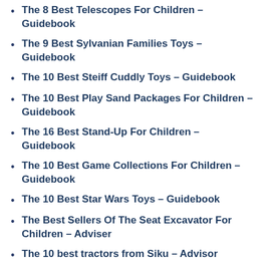The 8 Best Telescopes For Children – Guidebook
The 9 Best Sylvanian Families Toys – Guidebook
The 10 Best Steiff Cuddly Toys – Guidebook
The 10 Best Play Sand Packages For Children – Guidebook
The 16 Best Stand-Up For Children – Guidebook
The 10 Best Game Collections For Children – Guidebook
The 10 Best Star Wars Toys – Guidebook
The Best Sellers Of The Seat Excavator For Children – Adviser
The 10 best tractors from Siku – Advisor
The 7 Best Fire Trucks From Siku – Guidebook
Die 10 besten Schaukeltiere für Kinder –